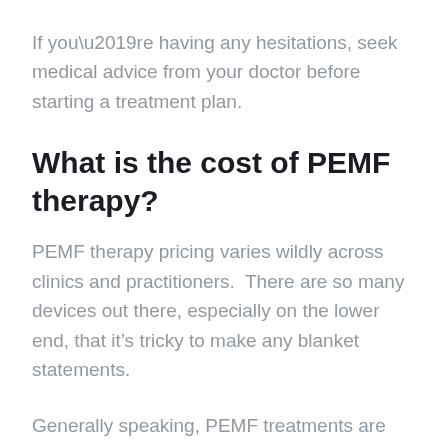If you’re having any hesitations, seek medical advice from your doctor before starting a treatment plan.
What is the cost of PEMF therapy?
PEMF therapy pricing varies wildly across clinics and practitioners.  There are so many devices out there, especially on the lower end, that it’s tricky to make any blanket statements.
Generally speaking, PEMF treatments are bundled